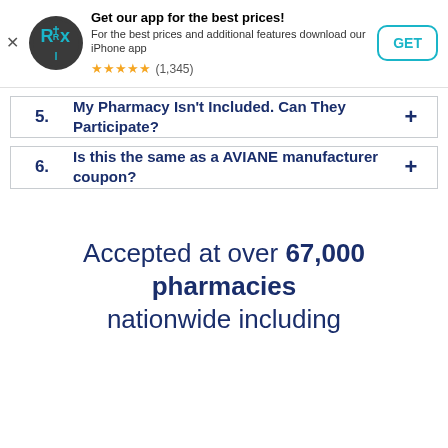[Figure (screenshot): App promotional banner with RxSaver logo, text 'Get our app for the best prices!', subtitle, star rating (1,345 reviews), and GET button]
5. My Pharmacy Isn't Included. Can They Participate?
6. Is this the same as a AVIANE manufacturer coupon?
Accepted at over 67,000 pharmacies nationwide including